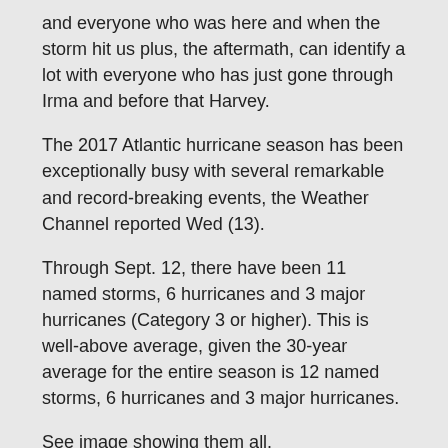and everyone who was here and when the storm hit us plus, the aftermath, can identify a lot with everyone who has just gone through Irma and before that Harvey.
The 2017 Atlantic hurricane season has been exceptionally busy with several remarkable and record-breaking events, the Weather Channel reported Wed (13).
Through Sept. 12, there have been 11 named storms, 6 hurricanes and 3 major hurricanes (Category 3 or higher). This is well-above average, given the 30-year average for the entire season is 12 named storms, 6 hurricanes and 3 major hurricanes.
See image showing them all.
The headlines in the above article says it all –